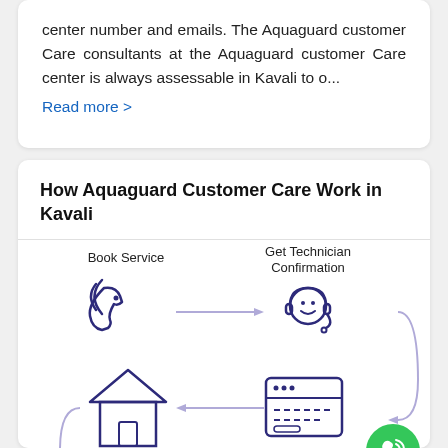center number and emails. The Aquaguard customer Care consultants at the Aquaguard customer Care center is always assessable in Kavali to o...
Read more >
How Aquaguard Customer Care Work in Kavali
[Figure (flowchart): Four-step flowchart showing: 1) Book Service (phone icon) -> 2) Get Technician Confirmation (headset agent icon) -> 3) Schedule Visit Time and Date (calendar/browser icon) -> 4) Expert Technician will visit at your home & complete work (house icon). Arrows connect steps in a circuit pattern.]